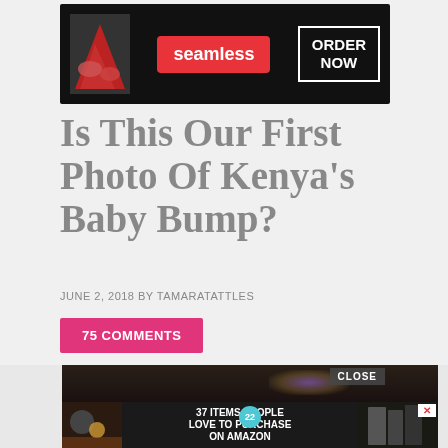[Figure (screenshot): Seamless food delivery advertisement banner with pizza image, red Seamless badge, and 'ORDER NOW' button on dark background]
Is This Our First Photo Of Kenya’s Baby Bump?
JUNE 2, 2018 BY TAMARATATTLES
75 COMMENTS
[Figure (photo): Dark, blurry photo of a person with a purple/golden lens flare effect, with a 'CLOSE' button overlay]
[Figure (screenshot): Advertisement overlay showing '37 ITEMS PEOPLE LOVE TO PURCHASE ON AMAZON' with dark background and food/kitchen item photos, with X close button and '22' badge]